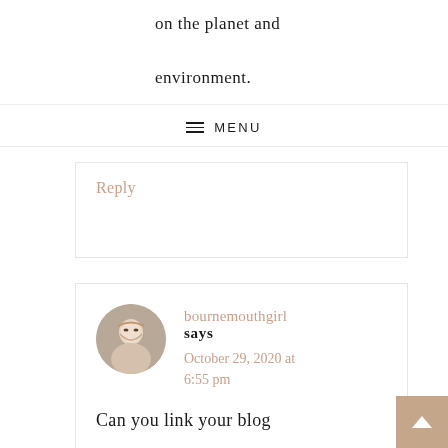on the planet and environment.
MENU
Reply
bournemouthgirl says October 29, 2020 at 6:55 pm
Can you link your blog
Loading...